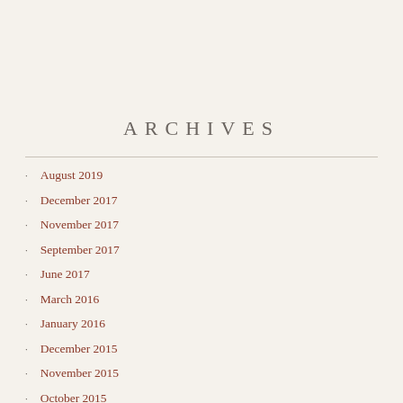ARCHIVES
August 2019
December 2017
November 2017
September 2017
June 2017
March 2016
January 2016
December 2015
November 2015
October 2015